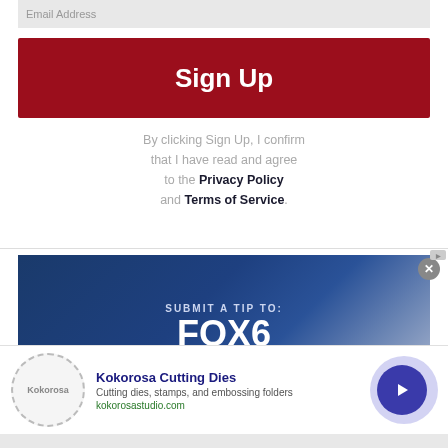Email Address
Sign Up
By clicking Sign Up, I confirm that I have read and agree to the Privacy Policy and Terms of Service.
[Figure (screenshot): FOX6 Investigators promotional banner with dark blue gradient background. Text reads: SUBMIT A TIP TO: FOX6 INVESTIGATORS]
Kokorosa Cutting Dies
Cutting dies, stamps, and embossing folders
kokorosastudio.com